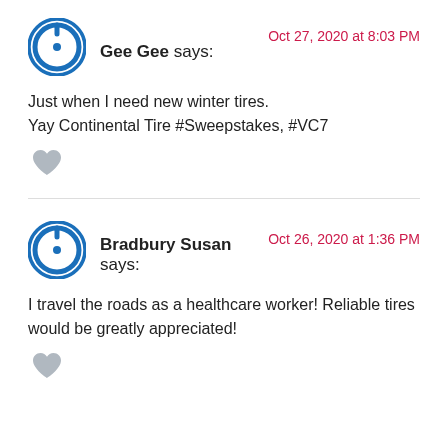[Figure (illustration): Blue circular power/user avatar icon for Gee Gee]
Gee Gee says:
Oct 27, 2020 at 8:03 PM
Just when I need new winter tires.
Yay Continental Tire #Sweepstakes, #VC7
[Figure (illustration): Gray heart icon (like/vote button)]
[Figure (illustration): Blue circular power/user avatar icon for Bradbury Susan]
Bradbury Susan says:
Oct 26, 2020 at 1:36 PM
I travel the roads as a healthcare worker! Reliable tires would be greatly appreciated!
[Figure (illustration): Gray heart icon (like/vote button)]